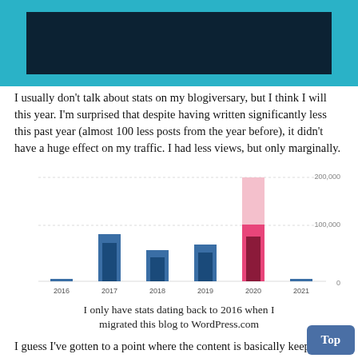[Figure (photo): Dark teal banner at top with a dark navy/black rectangular image centered within it]
I usually don't talk about stats on my blogiversary, but I think I will this year. I'm surprised that despite having written significantly less this past year (almost 100 less posts from the year before), it didn't have a huge effect on my traffic. I had less views, but only marginally.
[Figure (bar-chart): ]
I only have stats dating back to 2016 when I migrated this blog to WordPress.com
I guess I've gotten to a point where the content is basically keeping the blog going even if I take a little break from adding to it. The most popular post of last year is one that I wrote in 2018 on the FFXIV Bard Music Player! In fact, it was so popular that I even updated that post last year with the newest BMP information.